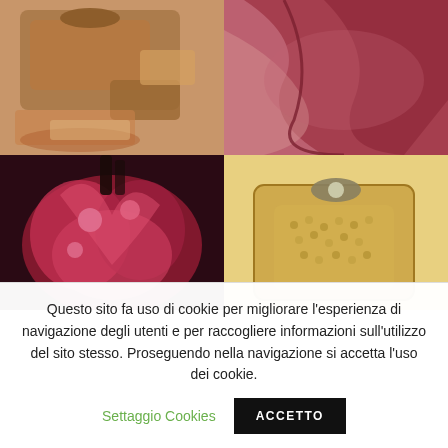[Figure (photo): Grid of four product photos: top-left shows brown leather handbags and accessories; top-right shows crimson/burgundy draped fabric scarf; bottom-left shows a dark red feathered floral hair accessory/fascinator; bottom-right shows a gold metallic beaded antique purse/clutch.]
Questo sito fa uso di cookie per migliorare l'esperienza di navigazione degli utenti e per raccogliere informazioni sull'utilizzo del sito stesso. Proseguendo nella navigazione si accetta l'uso dei cookie.
Settaggio Cookies
ACCETTO